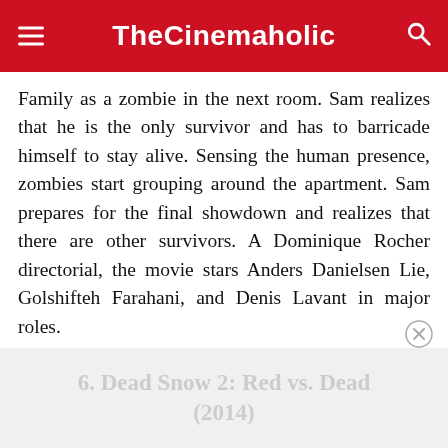TheCinemaholic
Family as a zombie in the next room. Sam realizes that he is the only survivor and has to barricade himself to stay alive. Sensing the human presence, zombies start grouping around the apartment. Sam prepares for the final showdown and realizes that there are other survivors. A Dominique Rocher directorial, the movie stars Anders Danielsen Lie, Golshifteh Farahani, and Denis Lavant in major roles.
6. Dead Snow 2: Red vs. Dead (2014)